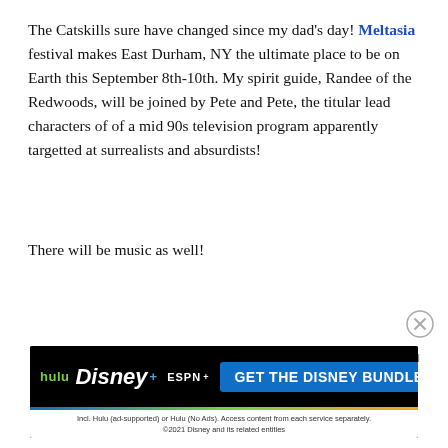The Catskills sure have changed since my dad's day! Meltasia festival makes East Durham, NY the ultimate place to be on Earth this September 8th-10th. My spirit guide, Randee of the Redwoods, will be joined by Pete and Pete, the titular lead characters of of a mid 90s television program apparently targetted at surrealists and absurdists!
There will be music as well!
[Figure (other): Close (X) button circle icon for dismissing an advertisement]
Report an ad
[Figure (other): Disney Bundle advertisement banner showing Hulu, Disney+, and ESPN+ logos with a blue 'GET THE DISNEY BUNDLE' call-to-action button. Fine print reads: Incl. Hulu (ad-supported) or Hulu (No Ads). Access content from each service separately. ©2021 Disney and its related entities.]